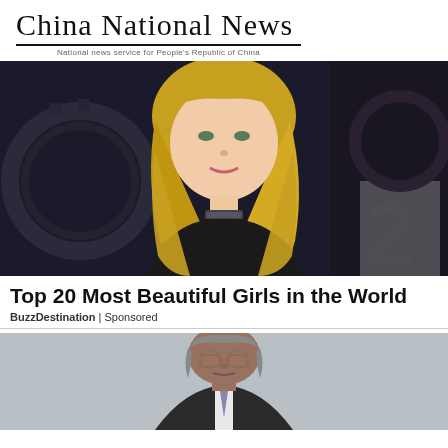China National News
National news service for People's Republic of China
[Figure (photo): Blonde woman in a black outfit posing in front of a dark background with a globe-like decoration]
Top 20 Most Beautiful Girls in the World
BuzzDestination | Sponsored
[Figure (photo): Older man with grey hair wearing a suit, photographed against a grey background]